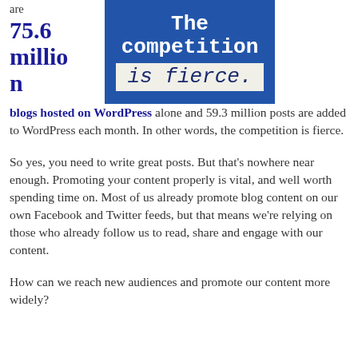[Figure (illustration): Blue banner image with typewriter-style text reading 'The competition is fierce.' on a light background, shown on the right side of the page top.]
are 75.6 million blogs hosted on WordPress alone and 59.3 million posts are added to WordPress each month. In other words, the competition is fierce.
So yes, you need to write great posts. But that's nowhere near enough. Promoting your content properly is vital, and well worth spending time on. Most of us already promote blog content on our own Facebook and Twitter feeds, but that means we're relying on those who already follow us to read, share and engage with our content.
How can we reach new audiences and promote our content more widely?